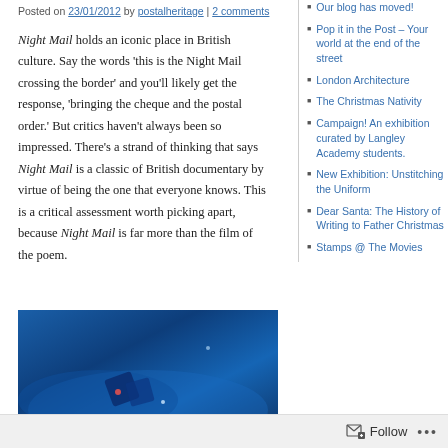Posted on 23/01/2012 by postalheritage | 2 comments
Night Mail holds an iconic place in British culture. Say the words 'this is the Night Mail crossing the border' and you'll likely get the response, 'bringing the cheque and the postal order.' But critics haven't always been so impressed. There's a strand of thinking that says Night Mail is a classic of British documentary by virtue of being the one that everyone knows. This is a critical assessment worth picking apart, because Night Mail is far more than the film of the poem.
[Figure (photo): Dark blue cinematic image, appears to be a still from the Night Mail film showing abstract shapes against a blue background]
Our blog has moved!
Pop it in the Post – Your world at the end of the street
London Architecture
The Christmas Nativity
Campaign! An exhibition curated by Langley Academy students.
New Exhibition: Unstitching the Uniform
Dear Santa: The History of Writing to Father Christmas
Stamps @ The Movies
Follow ...